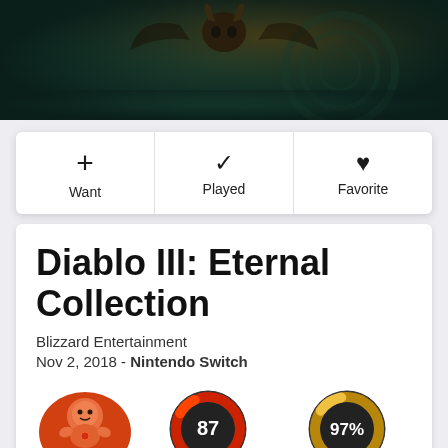[Figure (photo): Dark fantasy game banner with creature/skull silhouette against dark teal background]
[Figure (infographic): Three action buttons: Want (plus icon), Played (checkmark icon), Favorite (heart icon)]
Diablo III: Eternal Collection
Blizzard Entertainment
Nov 2, 2018 - Nintendo Switch
[Figure (logo): Mighty badge - orange circular badge with cartoon strong character and MIGHTY text]
[Figure (donut-chart): Donut chart showing score 87 with red/orange arc on dark background]
[Figure (donut-chart): Donut chart showing 97% with gold/yellow arc on dark background]